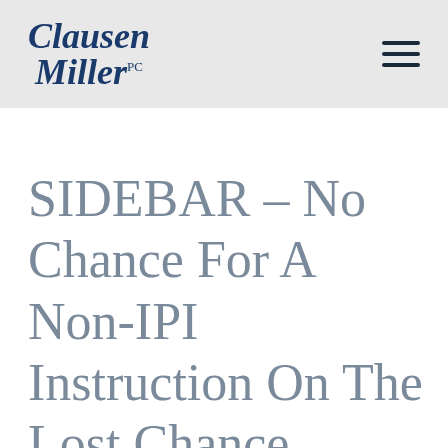Clausen Miller PC
SIDEBAR – No Chance For A Non-IPI Instruction On The Lost Chance Doctrine In Medical Malpractice